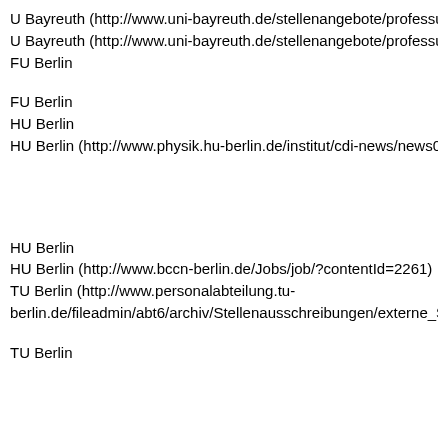U Bayreuth (http://www.uni-bayreuth.de/stellenangebote/professuren/
U Bayreuth (http://www.uni-bayreuth.de/stellenangebote/professuren/
FU Berlin
FU Berlin
HU Berlin
HU Berlin (http://www.physik.hu-berlin.de/institut/cdi-news/news080
HU Berlin
HU Berlin (http://www.bccn-berlin.de/Jobs/job/?contentId=2261)
TU Berlin (http://www.personalabteilung.tu-berlin.de/fileadmin/abt6/archiv/Stellenausschreibungen/externe_Stelle
TU Berlin